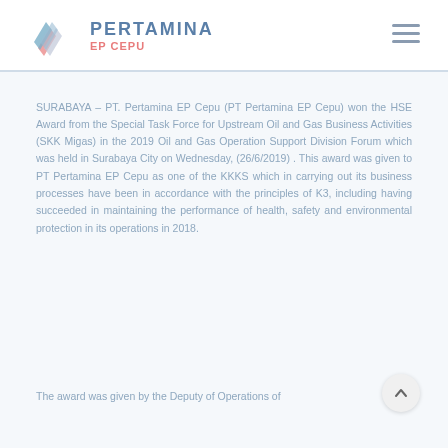PERTAMINA EP CEPU
SURABAYA – PT. Pertamina EP Cepu (PT Pertamina EP Cepu) won the HSE Award from the Special Task Force for Upstream Oil and Gas Business Activities (SKK Migas) in the 2019 Oil and Gas Operation Support Division Forum which was held in Surabaya City on Wednesday, (26/6/2019) . This award was given to PT Pertamina EP Cepu as one of the KKKS which in carrying out its business processes have been in accordance with the principles of K3, including having succeeded in maintaining the performance of health, safety and environmental protection in its operations in 2018.
The award was given by the Deputy of Operations of SKK Migas (Fatar Yani Abdurrahman) and...